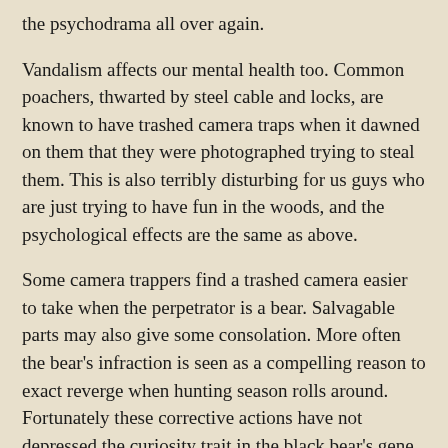the psychodrama all over again.
Vandalism affects our mental health too. Common poachers, thwarted by steel cable and locks, are known to have trashed camera traps when it dawned on them that they were photographed trying to steal them. This is also terribly disturbing for us guys who are just trying to have fun in the woods, and the psychological effects are the same as above.
Some camera trappers find a trashed camera easier to take when the perpetrator is a bear. Salvagable parts may also give some consolation. More often the bear's infraction is seen as a compelling reason to exact reverge when hunting season rolls around. Fortunately these corrective actions have not depressed the curiosity trait in the black bear's gene pool. Whether he takes revenge or not, the wise camera trapper is advised to chalk it up to experience, and in the future protect his camera with a bear guard.
A few camera trappers, clearly a minority, accept such a loss with resignation. They are a rare lot.